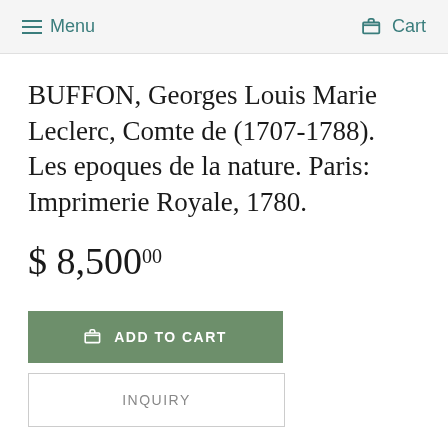Menu  Cart
BUFFON, Georges Louis Marie Leclerc, Comte de (1707-1788). Les epoques de la nature. Paris: Imprimerie Royale, 1780.
$ 8,500.00
ADD TO CART
INQUIRY
BUFFON, Georges Louis Marie Leclerc, Comte de (1707-1788),